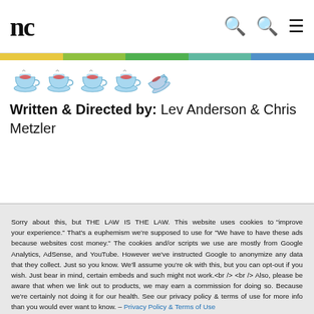nc  [search icons] [menu icon]
[Figure (illustration): Rating: four coffee cups and one partial/tipped cup icon indicating a rating of approximately 4.5 out of 5]
Written & Directed by: Lev Anderson & Chris Metzler
Sorry about this, but THE LAW IS THE LAW. This website uses cookies to "improve your experience." That's a euphemism we're supposed to use for "We have to have these ads because websites cost money." The cookies and/or scripts we use are mostly from Google Analytics, AdSense, and YouTube. However we've instructed Google to anonymize any data that they collect. Just so you know. We'll assume you're ok with this, but you can opt-out if you wish. Just bear in mind, certain embeds and such might not work.<br /> <br /> Also, please be aware that when we link out to products, we may earn a commission for doing so. Because we're certainly not doing it for our health. See our privacy policy & terms of use for more info than you would ever want to know. – Privacy Policy & Terms of Use